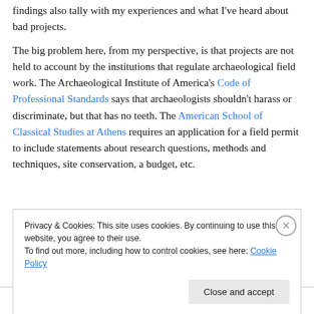findings also tally with my experiences and what I've heard about bad projects.
The big problem here, from my perspective, is that projects are not held to account by the institutions that regulate archaeological field work. The Archaeological Institute of America's Code of Professional Standards says that archaeologists shouldn't harass or discriminate, but that has no teeth. The American School of Classical Studies at Athens requires an application for a field permit to include statements about research questions, methods and techniques, site conservation, a budget, etc.
Privacy & Cookies: This site uses cookies. By continuing to use this website, you agree to their use. To find out more, including how to control cookies, see here: Cookie Policy
Close and accept
Advertisements